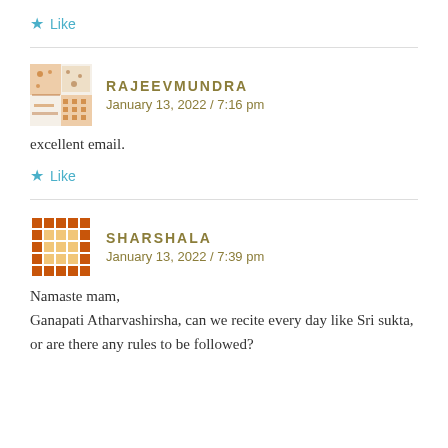Like
RAJEEVMUNDRA
January 13, 2022 / 7:16 pm
excellent email.
Like
SHARSHALA
January 13, 2022 / 7:39 pm
Namaste mam,
Ganapati Atharvashirsha, can we recite every day like Sri sukta, or are there any rules to be followed?